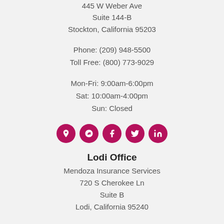445 W Weber Ave
Suite 144-B
Stockton, California 95203
Phone: (209) 948-5500
Toll Free: (800) 773-9029
Mon-Fri: 9:00am-6:00pm
Sat: 10:00am-4:00pm
Sun: Closed
[Figure (infographic): Row of 5 circular social media icon buttons in magenta/crimson color: location pin, Yelp, Facebook, Twitter, LinkedIn]
Lodi Office
Mendoza Insurance Services
720 S Cherokee Ln
Suite B
Lodi, California 95240